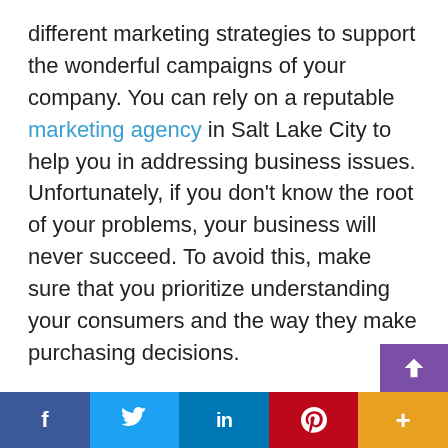different marketing strategies to support the wonderful campaigns of your company. You can rely on a reputable marketing agency in Salt Lake City to help you in addressing business issues. Unfortunately, if you don't know the root of your problems, your business will never succeed. To avoid this, make sure that you prioritize understanding your consumers and the way they make purchasing decisions.
Understanding Consumer's Purchasing Decisions
There are tons of business strategies that you